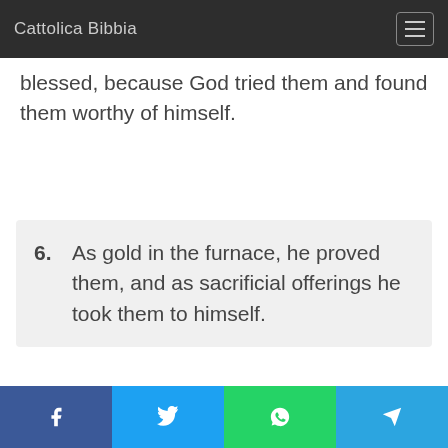Cattolica Bibbia
blessed, because God tried them and found them worthy of himself.
6. As gold in the furnace, he proved them, and as sacrificial offerings he took them to himself.
Facebook Twitter WhatsApp Telegram